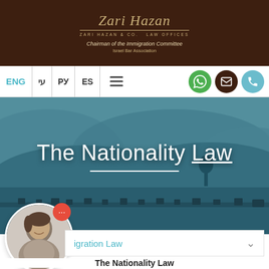Zari Hazan & Co. Law Offices — Chairman of the Immigration Committee, Israel Bar Association
[Figure (screenshot): Law firm website header navigation bar with language selectors ENG, עי, РУ, ES, hamburger menu, WhatsApp icon, email icon, and phone icon]
The Nationality Law
[Figure (photo): Teal-tinted landscape photo showing hills with a long caravan of wagons and horses crossing the plains]
[Figure (photo): Chat widget showing a smiling woman's profile photo with a red notification dot]
igration Law
The Nationality Law